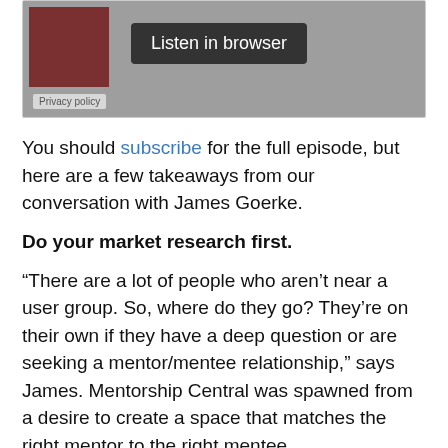[Figure (screenshot): Podcast player widget with a dark red thumbnail image on the left, a 'Listen in browser' button in dark gray, and a 'Privacy policy' label at the bottom left, all on a gray background.]
You should subscribe for the full episode, but here are a few takeaways from our conversation with James Goerke.
Do your market research first.
“There are a lot of people who aren’t near a user group. So, where do they go? They’re on their own if they have a deep question or are seeking a mentor/mentee relationship,” says James. Mentorship Central was spawned from a desire to create a space that matches the right mentor to the right mentee.
But as James likes to point out, “Before you start doing anything, do some market research and see if anyone